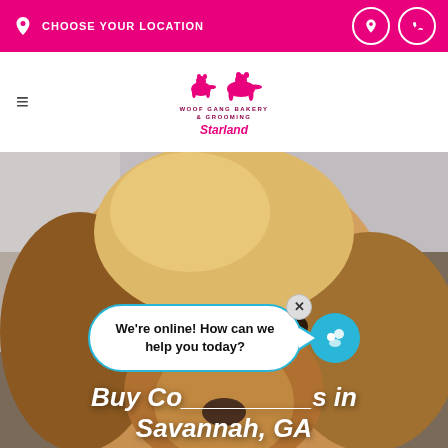CHOOSE YOUR LOCATION
[Figure (logo): Woof Gang Bakery & Grooming Starland logo with two dog silhouettes]
[Figure (photo): Golden retriever puppy close-up photo used as hero background image]
We're online! How can we help you today?
Buy Co... in Savannah, GA